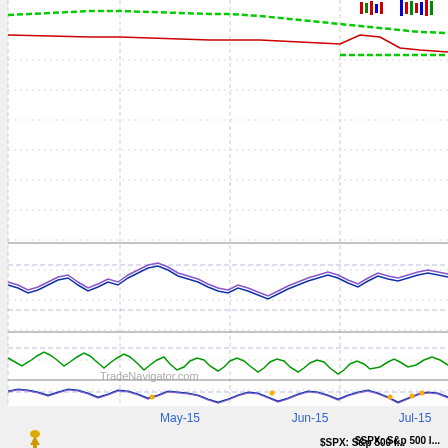[Figure (continuous-plot): TradeNavigator.com financial chart showing S&P 500 index with multiple indicator lines. Top section shows price with green dashed moving average line and red line near top. Middle sections show oscillator indicators in purple/dark blue. Lower sections show green and purple/blue indicator lines. X-axis shows May-15, Jun-15, Jul-15 date labels. Bottom shows '$SPX: S&p 500 I...' and 'TradeN...' labels with a gold/yellow icon.]
$SPX: S&p 500 I...